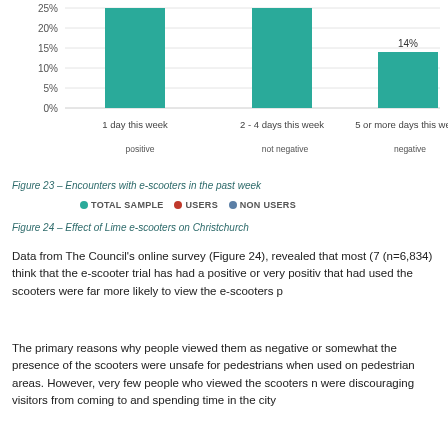[Figure (bar-chart): Encounters with e-scooters in the past week]
Figure 23 – Encounters with e-scooters in the past week
Figure 24 – Effect of Lime e-scooters on Christchurch
Data from The Council's online survey (Figure 24), revealed that most (7 (n=6,834) think that the e-scooter trial has had a positive or very positive that had used the scooters were far more likely to view the e-scooters p
The primary reasons why people viewed them as negative or somewhat the presence of the scooters were unsafe for pedestrians when used on pedestrian areas. However, very few people who viewed the scooters n were discouraging visitors from coming to and spending time in the city